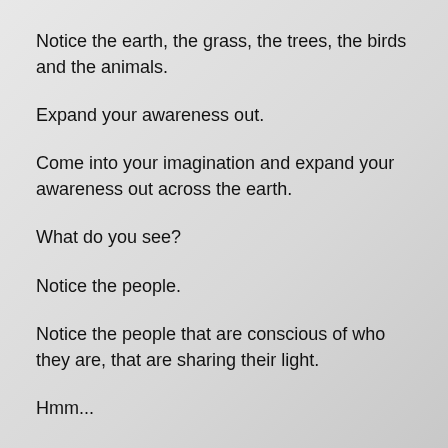Notice the earth, the grass, the trees, the birds and the animals.
Expand your awareness out.
Come into your imagination and expand your awareness out across the earth.
What do you see?
Notice the people.
Notice the people that are conscious of who they are, that are sharing their light.
Hmm...